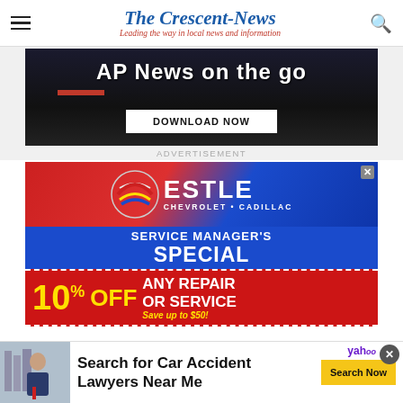The Crescent-News — Leading the way in local news and information
[Figure (screenshot): AP News on the go advertisement with DOWNLOAD NOW button on dark background]
ADVERTISEMENT
[Figure (screenshot): Estle Chevrolet Cadillac Service Manager's Special — 10% OFF any repair or service, Save up to $50!]
[Figure (infographic): Bottom ad banner: Search for Car Accident Lawyers Near Me with Search Now button, Yahoo branding]